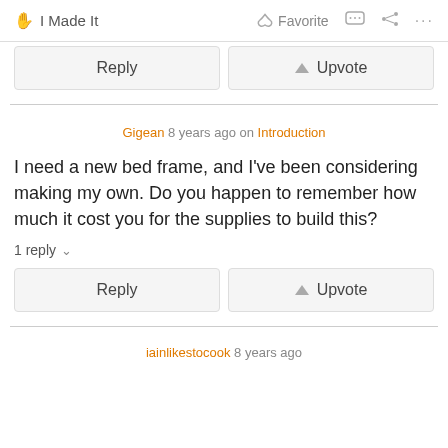I Made It   Favorite   ...
Gigean 8 years ago on Introduction
I need a new bed frame, and I've been considering making my own. Do you happen to remember how much it cost you for the supplies to build this?
1 reply
iainlikestocook 8 years ago